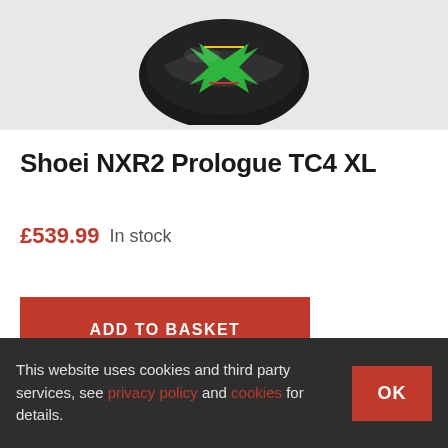[Figure (photo): Shoei motorcycle helmet with green and black graphic design, viewed from above/front angle against light grey background]
Shoei NXR2 Prologue TC4 XL
£539.99 In stock
ADD TO BASKET
SKU: 0792463
Categories: Helmets, Shoei
This website uses cookies and third party services, see privacy policy and cookies for details.